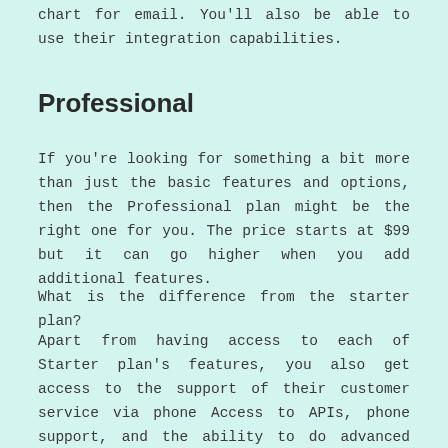chart for email. You'll also be able to use their integration capabilities.
Professional
If you're looking for something a bit more than just the basic features and options, then the Professional plan might be the right one for you. The price starts at $99 but it can go higher when you add additional features.
What is the difference from the starter plan?
Apart from having access to each of Starter plan's features, you also get access to the support of their customer service via phone Access to APIs, phone support, and the ability to do advanced CSV import. Additionally, they allow you to have 12 free AutoFiles each year.